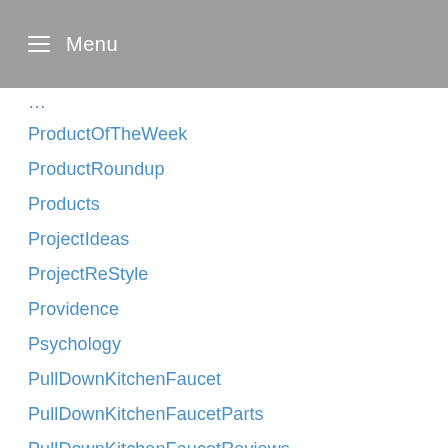Menu
ProductOfTheWeek
ProductRoundup
Products
ProjectIdeas
ProjectReStyle
Providence
Psychology
PullDownKitchenFaucet
PullDownKitchenFaucetParts
PullDownKitchenFaucetReviews
Pumpkins
pumpkinspicelattes
PUSDON
PYFXSALA
quartos
Queens